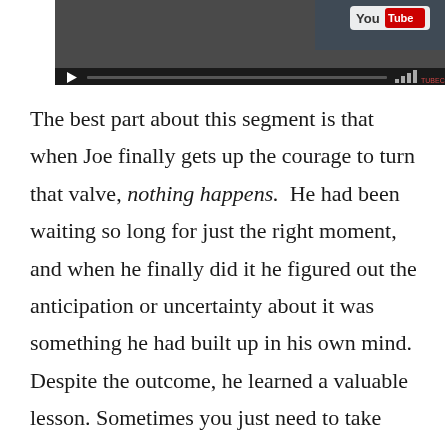[Figure (screenshot): YouTube video player screenshot showing a dark video frame with YouTube logo in top right and playback controls at bottom]
The best part about this segment is that when Joe finally gets up the courage to turn that valve, nothing happens.  He had been waiting so long for just the right moment, and when he finally did it he figured out the anticipation or uncertainty about it was something he had built up in his own mind. Despite the outcome, he learned a valuable lesson. Sometimes you just need to take action and do the things you are afraid of...